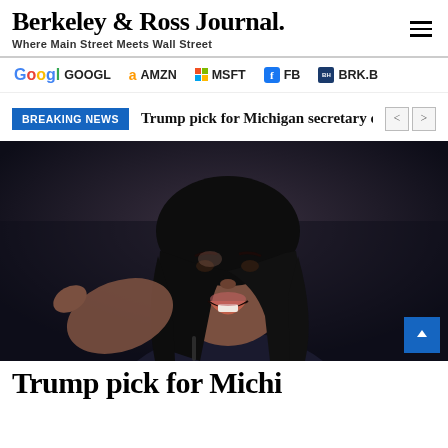Berkeley & Ross Journal. Where Main Street Meets Wall Street
GOOGL  AMZN  MSFT  FB  BRK.B
BREAKING NEWS  Trump pick for Michigan secretary of sta
[Figure (photo): A woman speaking and gesturing at what appears to be a political rally, with dark background lighting. She has long dark hair and is wearing a dark outfit.]
Trump pick for Michi...